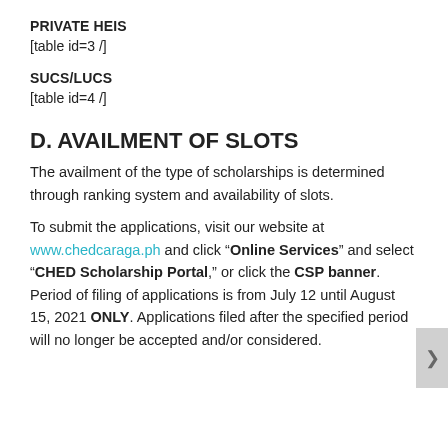PRIVATE HEIS
[table id=3 /]
SUCS/LUCS
[table id=4 /]
D. AVAILMENT OF SLOTS
The availment of the type of scholarships is determined through ranking system and availability of slots.
To submit the applications, visit our website at www.chedcaraga.ph and click “Online Services” and select “CHED Scholarship Portal,” or click the CSP banner. Period of filing of applications is from July 12 until August 15, 2021 ONLY. Applications filed after the specified period will no longer be accepted and/or considered.